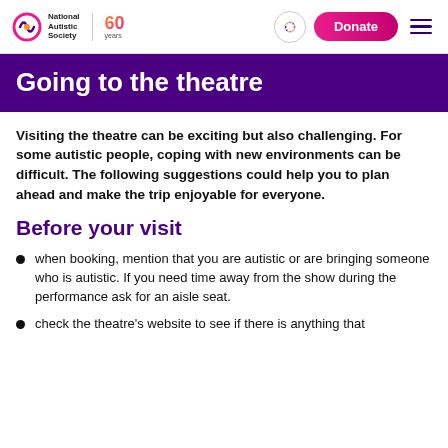[Figure (logo): National Autistic Society logo with 60 years badge and navigation bar with accessibility, donate and hamburger menu buttons]
Going to the theatre
Visiting the theatre can be exciting but also challenging. For some autistic people, coping with new environments can be difficult. The following suggestions could help you to plan ahead and make the trip enjoyable for everyone.
Before your visit
when booking, mention that you are autistic or are bringing someone who is autistic. If you need time away from the show during the performance ask for an aisle seat.
check the theatre's website to see if there is anything that